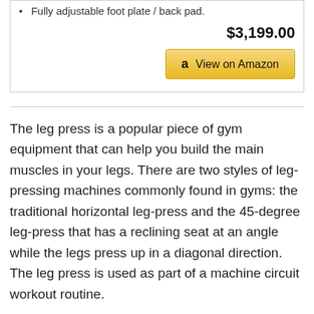Fully adjustable foot plate / back pad.
$3,199.00
[Figure (other): Amazon 'View on Amazon' button with Amazon logo]
The leg press is a popular piece of gym equipment that can help you build the main muscles in your legs. There are two styles of leg-pressing machines commonly found in gyms: the traditional horizontal leg-press and the 45-degree leg-press that has a reclining seat at an angle while the legs press up in a diagonal direction. The leg press is used as part of a machine circuit workout routine.
Read More  10 Best Running Sled - Do Not